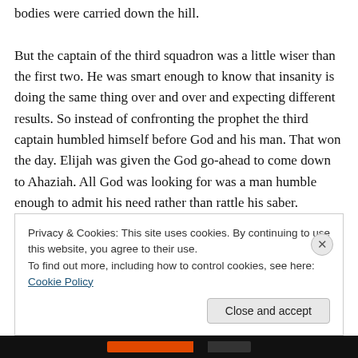bodies were carried down the hill.

But the captain of the third squadron was a little wiser than the first two. He was smart enough to know that insanity is doing the same thing over and over and expecting different results. So instead of confronting the prophet the third captain humbled himself before God and his man. That won the day. Elijah was given the God go-ahead to come down to Ahaziah. All God was looking for was a man humble enough to admit his need rather than rattle his saber.
Privacy & Cookies: This site uses cookies. By continuing to use this website, you agree to their use.
To find out more, including how to control cookies, see here: Cookie Policy